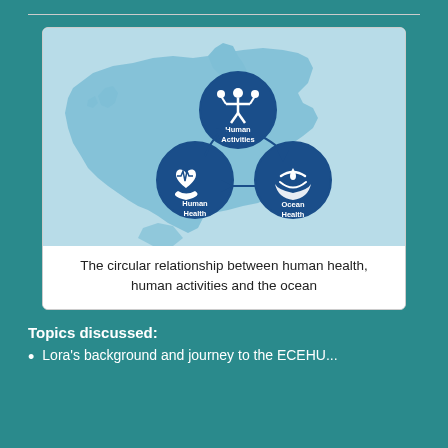[Figure (infographic): Circular relationship diagram showing three interconnected circles labeled 'Human Activities' (top, with people icon), 'Human Health' (bottom-left, with heart/ECG icon), and 'Ocean Health' (bottom-right, with hands/wave icon), connected by arrows in a cycle. Set against a light blue map of Europe.]
The circular relationship between human health, human activities and the ocean
Topics discussed:
Lora's background and journey to the ECEHU...